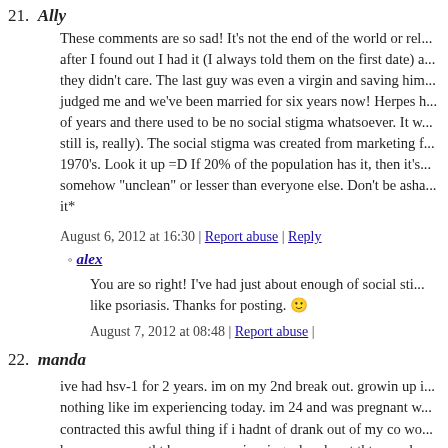21. Ally
These comments are so sad! It's not the end of the world or rel... after I found out I had it (I always told them on the first date) a... they didn't care. The last guy was even a virgin and saving him... judged me and we've been married for six years now! Herpes h... of years and there used to be no social stigma whatsoever. It w... still is, really). The social stigma was created from marketing f... 1970's. Look it up =D If 20% of the population has it, then it's... somehow "unclean" or lesser than everyone else. Don't be asha... it*
August 6, 2012 at 16:30 | Report abuse | Reply
alex
You are so right! I've had just about enough of social sti... like psoriasis. Thanks for posting. 🙂
August 7, 2012 at 08:48 | Report abuse |
22. manda
ive had hsv-1 for 2 years. im on my 2nd break out. growin up i... nothing like im experiencing today. im 24 and was pregnant w... contracted this awful thing if i hadnt of drank out of my co wo... herpes or even tht he was experiencing a break out tht very day... disgusting but i know tht its not going to stop me from having...